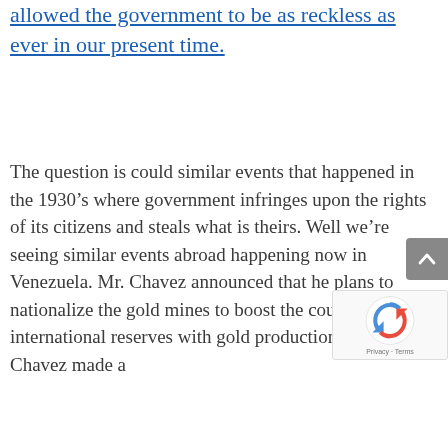allowed the government to be as reckless as ever in our present time.
The question is could similar events that happened in the 1930’s where government infringes upon the rights of its citizens and steals what is theirs. Well we’re seeing similar events abroad happening now in Venezuela. Mr. Chavez announced that he plans to nationalize the gold mines to boost the country’s international reserves with gold production. Mr. Chavez made a